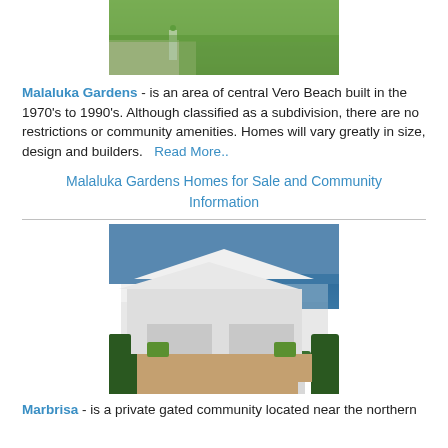[Figure (photo): Aerial or ground-level photo of a residential property with green lawn and concrete driveway, Malaluka Gardens area home]
Malaluka Gardens - is an area of central Vero Beach built in the 1970's to 1990's. Although classified as a subdivision, there are no restrictions or community amenities. Homes will vary greatly in size, design and builders.  Read More..
Malaluka Gardens Homes for Sale and Community Information
[Figure (photo): Aerial photo of a white modern beachfront home with white metal roof, double garage, brick driveway, hedges, and ocean visible in background]
Marbrisa - is a private gated community located near the northern